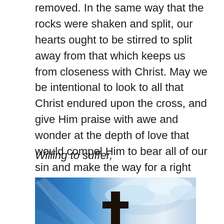removed. In the same way that the rocks were shaken and split, our hearts ought to be stirred to split away from that which keeps us from closeness with Christ. May we be intentional to look to all that Christ endured upon the cross, and give Him praise with awe and wonder at the depth of love that would compel Him to bear all of our sin and make the way for a right relationship with God.
Willing to suffer,
[Figure (photo): A dark silhouette of a Christian cross against a dramatic sky with blue tones and bright white clouds, with light rays visible.]